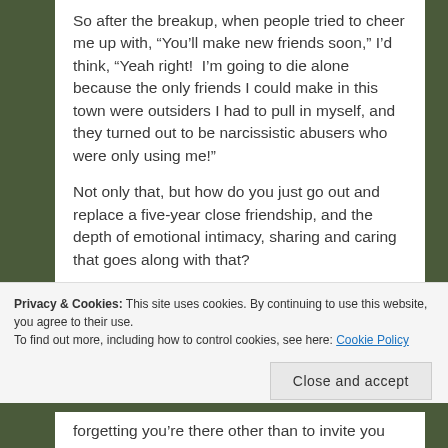So after the breakup, when people tried to cheer me up with, “You’ll make new friends soon,” I’d think, “Yeah right!  I’m going to die alone because the only friends I could make in this town were outsiders I had to pull in myself, and they turned out to be narcissistic abusers who were only using me!”
Not only that, but how do you just go out and replace a five-year close friendship, and the depth of emotional intimacy, sharing and caring that goes along with that?
Privacy & Cookies: This site uses cookies. By continuing to use this website, you agree to their use.
To find out more, including how to control cookies, see here: Cookie Policy
forgetting you’re there other than to invite you